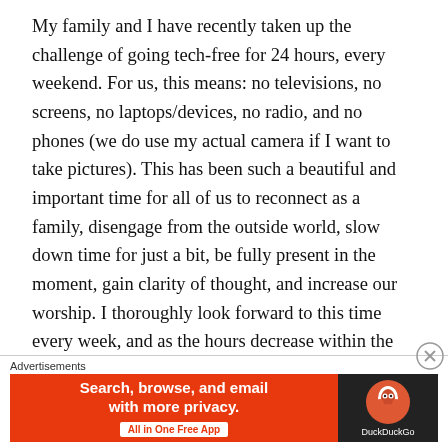My family and I have recently taken up the challenge of going tech-free for 24 hours, every weekend. For us, this means: no televisions, no screens, no laptops/devices, no radio, and no phones (we do use my actual camera if I want to take pictures). This has been such a beautiful and important time for all of us to reconnect as a family, disengage from the outside world, slow down time for just a bit, be fully present in the moment, gain clarity of thought, and increase our worship. I thoroughly look forward to this time every week, and as the hours decrease within the 24-hour period, my heart longs for it to continue without cease.

Being tech-free for that time every weekend always makes me wonder what life was like for people before technology. Sure,
[Figure (other): DuckDuckGo advertisement banner with orange left side reading 'Search, browse, and email with more privacy. All in One Free App' and dark right side with DuckDuckGo duck logo and brand name.]